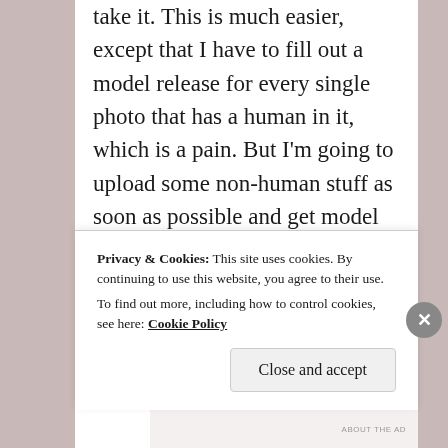take it. This is much easier, except that I have to fill out a model release for every single photo that has a human in it, which is a pain. But I'm going to upload some non-human stuff as soon as possible and get model releases from friends I've photographed so I can upload more portraits and jumping shots to my contributor page.
Privacy & Cookies: This site uses cookies. By continuing to use this website, you agree to their use.
To find out more, including how to control cookies, see here: Cookie Policy
Close and accept
ABOUT THE AD